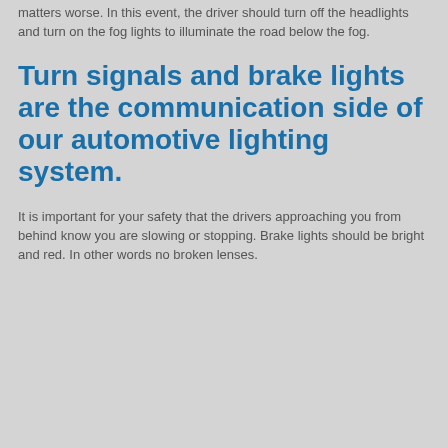matters worse. In this event, the driver should turn off the headlights and turn on the fog lights to illuminate the road below the fog.
Turn signals and brake lights are the communication side of our automotive lighting system.
It is important for your safety that the drivers approaching you from behind know you are slowing or stopping. Brake lights should be bright and red. In other words no broken lenses.